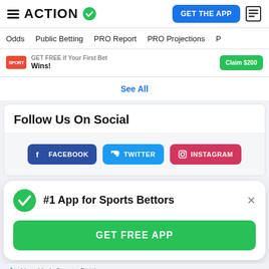ACTION
Odds  Public Betting  PRO Report  PRO Projections
GET FREE if Your First Bet Wins!
See All
Follow Us On Social
FACEBOOK  TWITTER  INSTAGRAM
#1 App for Sports Bettors
GET FREE APP
New York Sports Betting